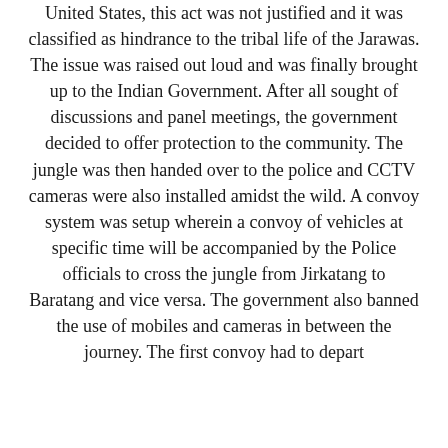United States, this act was not justified and it was classified as hindrance to the tribal life of the Jarawas. The issue was raised out loud and was finally brought up to the Indian Government. After all sought of discussions and panel meetings, the government decided to offer protection to the community. The jungle was then handed over to the police and CCTV cameras were also installed amidst the wild. A convoy system was setup wherein a convoy of vehicles at specific time will be accompanied by the Police officials to cross the jungle from Jirkatang to Baratang and vice versa. The government also banned the use of mobiles and cameras in between the journey. The first convoy had to depart